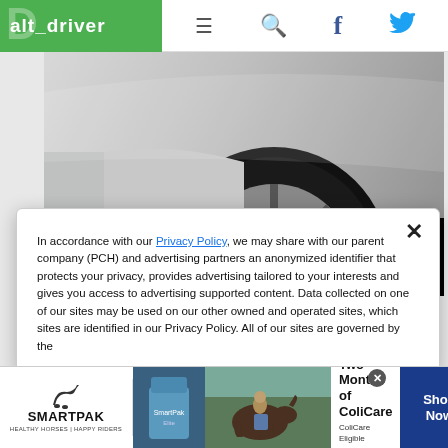alt_driver
[Figure (photo): Close-up of a silver sports car wheel and lower body panel, partially obscured by a black area at the bottom]
In accordance with our Privacy Policy, we may share with our parent company (PCH) and advertising partners an anonymized identifier that protects your privacy, provides advertising tailored to your interests and gives you access to advertising supported content. Data collected on one of our sites may be used on our other owned and operated sites, which sites are identified in our Privacy Policy. All of our sites are governed by the
[Figure (advertisement): SmartPak advertisement: 50% Off Two Months of ColiCare, ColiCare Eligible Supplements, CODE: COLICARE10, Shop Now button]